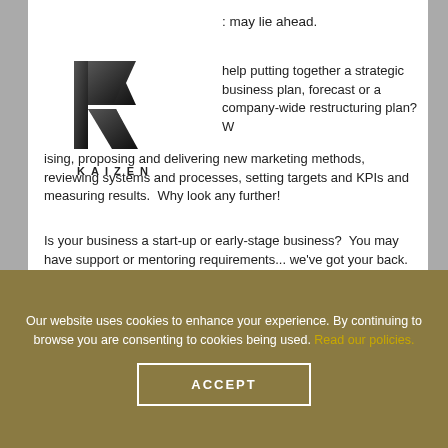[Figure (logo): Kaizen company logo with stylized K letterform in black/gray gradient above the word KAIZEN in spaced capitals]
may lie ahead.
help putting together a strategic business plan, forecast or a company-wide restructuring plan? We can help, devising, proposing and delivering new marketing methods, reviewing systems and processes, setting targets and KPIs and measuring results. Why look any further!
Is your business a start-up or early-stage business? You may have support or mentoring requirements... we've got your back. Perhaps you're a larger company looking to expand? We can help you raise finance and/or potentially gain some grant funding to help with a specific project... give us a call, and let's see what we can do for you today!
Our website uses cookies to enhance your experience. By continuing to browse you are consenting to cookies being used. Read our policies.
ACCEPT